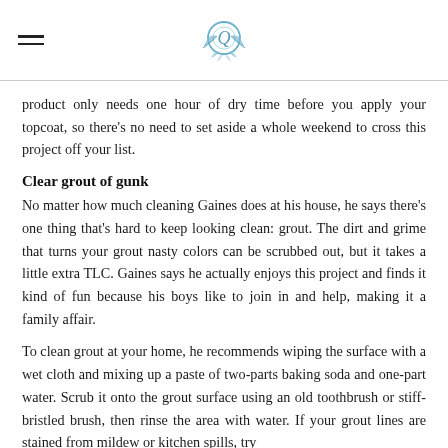[hamburger menu icon] [decorative logo]
product only needs one hour of dry time before you apply your topcoat, so there's no need to set aside a whole weekend to cross this project off your list.
Clear grout of gunk
No matter how much cleaning Gaines does at his house, he says there's one thing that's hard to keep looking clean: grout. The dirt and grime that turns your grout nasty colors can be scrubbed out, but it takes a little extra TLC. Gaines says he actually enjoys this project and finds it kind of fun because his boys like to join in and help, making it a family affair.
To clean grout at your home, he recommends wiping the surface with a wet cloth and mixing up a paste of two-parts baking soda and one-part water. Scrub it onto the grout surface using an old toothbrush or stiff-bristled brush, then rinse the area with water. If your grout lines are stained from mildew or kitchen spills, try